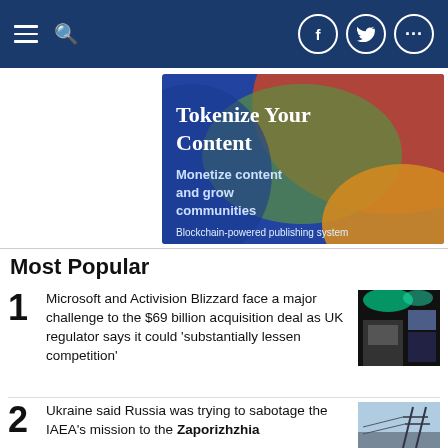Navigation bar with hamburger menu, search icon, Facebook, Twitter, and more social icons
[Figure (illustration): Advertisement banner: 'Tokenize Your Content — Monetize content and grow communities — Blockchain-powered publishing system' on a colorful gradient background]
Most Popular
1. Microsoft and Activision Blizzard face a major challenge to the $69 billion acquisition deal as UK regulator says it could 'substantially lessen competition'
2. Ukraine said Russia was trying to sabotage the IAEA's mission to the Zaporizhzhia